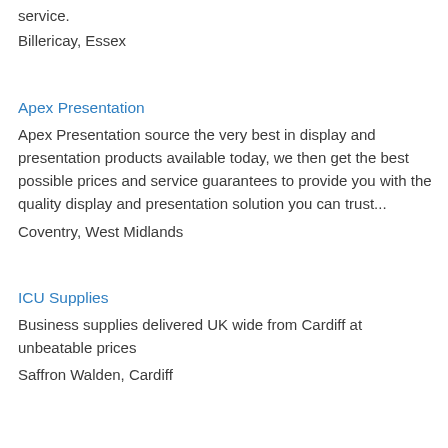service.
Billericay, Essex
Apex Presentation
Apex Presentation source the very best in display and presentation products available today, we then get the best possible prices and service guarantees to provide you with the quality display and presentation solution you can trust...
Coventry, West Midlands
ICU Supplies
Business supplies delivered UK wide from Cardiff at unbeatable prices
Saffron Walden, Cardiff